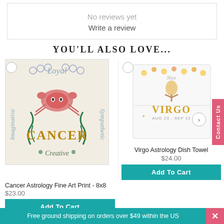No reviews yet
Write a review
YOU'LL ALSO LOVE...
[Figure (photo): Cancer Astrology Fine Art Print showing a crab with zodiac decorations and words Loyal, Imaginative, Sympathetic, Creative]
Cancer Astrology Fine Art Print - 8x8
$23.00
[Figure (photo): Virgo Astrology Dish Towel showing a virgo maiden with floral border]
Virgo Astrology Dish Towel
$24.00
Free ground shipping on orders over $49 within the US